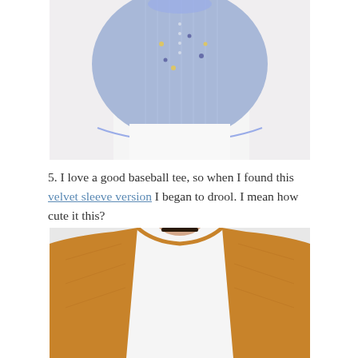[Figure (photo): A blue striped shirt with small embroidered floral or bee-like details, tucked into white pants, shown from the torso area.]
5. I love a good baseball tee, so when I found this velvet sleeve version I began to drool. I mean how cute it this?
[Figure (photo): A white and golden-yellow/mustard velvet raglan baseball tee shirt worn by a model, showing upper body with velvet sleeves.]